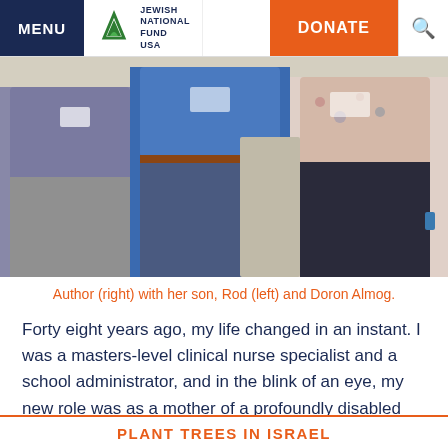MENU | JEWISH NATIONAL FUND USA | DONATE
[Figure (photo): Three people standing together outdoors. Author on the right, her son Rod on the left, and Doron Almog in the middle.]
Author (right) with her son, Rod (left) and Doron Almog.
Forty eight years ago, my life changed in an instant. I was a masters-level clinical nurse specialist and a school administrator, and in the blink of an eye, my new role was as a mother of a profoundly disabled son.
PLANT TREES IN ISRAEL